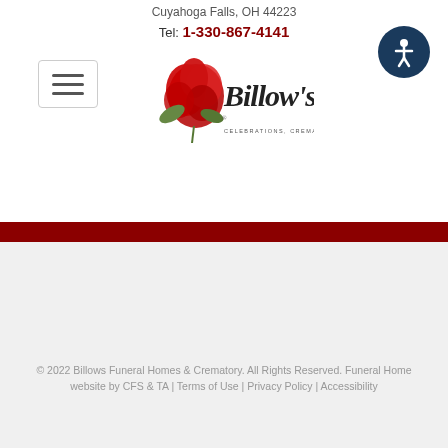Cuyahoga Falls, OH 44223
Tel: 1-330-867-4141
[Figure (logo): Billow's Celebrations, Cremations & Funerals logo with red rose and script lettering]
© 2022 Billows Funeral Homes & Crematory. All Rights Reserved. Funeral Home website by CFS & TA | Terms of Use | Privacy Policy | Accessibility